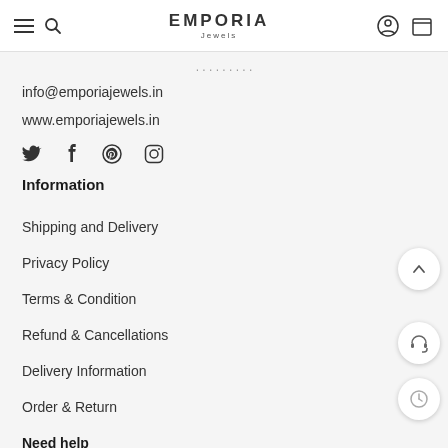EMPORIA Jewels
info@emporiajewels.in
www.emporiajewels.in
[Figure (other): Social media icons: Twitter, Facebook, Pinterest, Instagram]
Information
Shipping and Delivery
Privacy Policy
Terms & Condition
Refund & Cancellations
Delivery Information
Order & Return
Need help